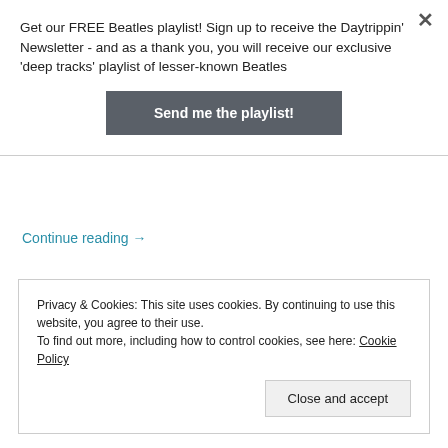Get our FREE Beatles playlist! Sign up to receive the Daytrippin' Newsletter - and as a thank you, you will receive our exclusive 'deep tracks' playlist of lesser-known Beatles
Send me the playlist!
Continue reading →
Privacy & Cookies: This site uses cookies. By continuing to use this website, you agree to their use.
To find out more, including how to control cookies, see here: Cookie Policy
Close and accept